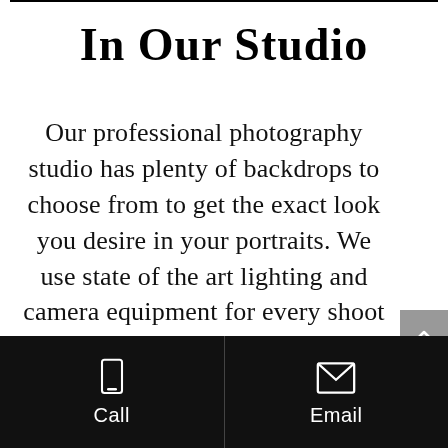In Our Studio
Our professional photography studio has plenty of backdrops to choose from to get the exact look you desire in your portraits. We use state of the art lighting and camera equipment for every shoot so that our clients receive the best headshots
Call  Email